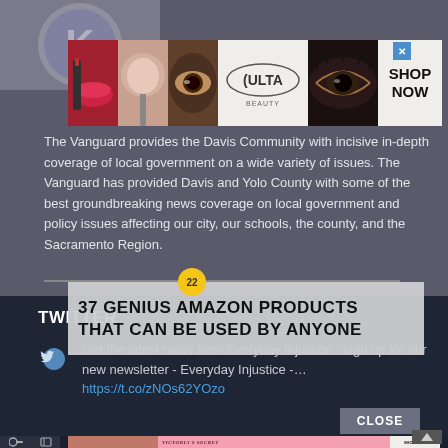[Figure (screenshot): Ulta Beauty advertisement banner showing makeup products and 'SHOP NOW' button]
The Vanguard provides the Davis Community with incisive in-depth coverage of local government on a wide variety of issues. The Vanguard has provided Davis and Yolo County with some of the best groundbreaking news coverage on local government and policy issues affecting our city, our schools, the county, and the Sacramento Region.
[Figure (infographic): Overlay advertisement: 37 GENIUS AMAZON PRODUCTS THAT CAN BE USED BY ANYONE with number badge 22]
TWITTER
Get the latest news from Everyday Injustice - sign up for our new newsletter - Everyday Injustice -… https://t.co/zNOs62YOzo
[Figure (screenshot): Victoria's Secret advertisement banner showing model and 'SHOP THE COLLECTION / SHOP NOW' button]
CLOSE